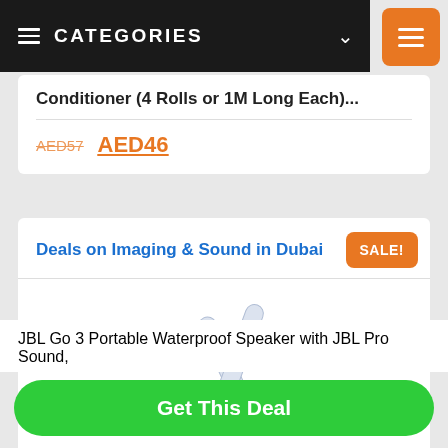CATEGORIES
Conditioner (4 Rolls or 1M Long Each)...
AED57  AED46
Deals on Imaging & Sound in Dubai
[Figure (photo): JBL Go 3 Portable Waterproof Speaker product image showing the speaker from an angle, white/light colored]
JBL Go 3 Portable Waterproof Speaker with JBL Pro Sound,
Get This Deal